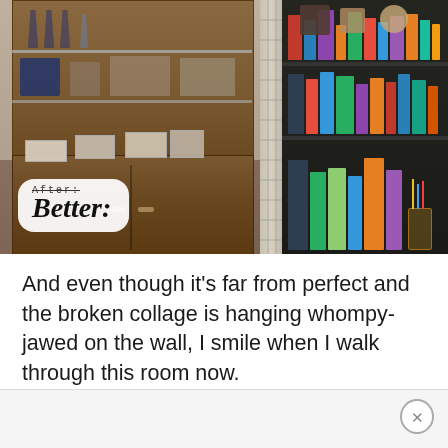[Figure (photo): A before/after style room photo showing two side-by-side images: left side shows a wooden hutch/cabinet with glassware and framed photos on shelves, right side shows a dark bookshelf filled with books and items. A white rounded label overlay in the bottom-left reads 'After:' (strikethrough) and 'Better:' in large cursive font.]
And even though it's far from perfect and the broken collage is hanging whompy-jawed on the wall, I smile when I walk through this room now.